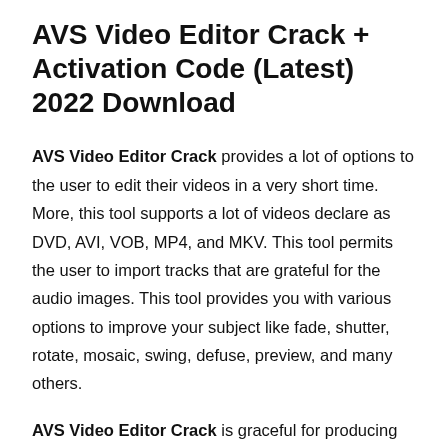AVS Video Editor Crack + Activation Code (Latest) 2022 Download
AVS Video Editor Crack provides a lot of options to the user to edit their videos in a very short time. More, this tool supports a lot of videos declare as DVD, AVI, VOB, MP4, and MKV. This tool permits the user to import tracks that are grateful for the audio images. This tool provides you with various options to improve your subject like fade, shutter, rotate, mosaic, swing, defuse, preview, and many others.
AVS Video Editor Crack is graceful for producing delicious DVDs and Blu-ray. Also, the user can add a